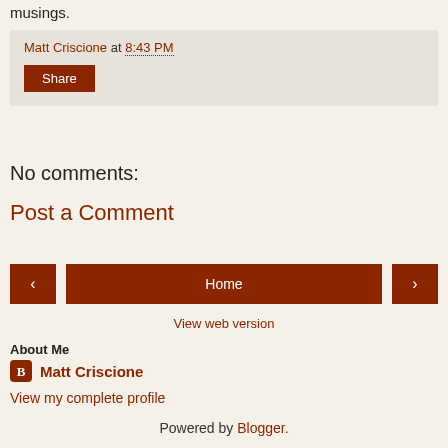musings.
Matt Criscione at 8:43 PM
Share
No comments:
Post a Comment
‹  Home  ›
View web version
About Me
Matt Criscione
View my complete profile
Powered by Blogger.